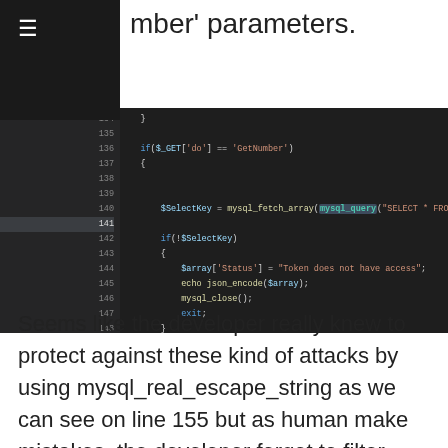mber' parameters.
[Figure (screenshot): Code screenshot showing PHP code lines 134-157. Lines include if($S_GET['do'] == 'GetNumber') block with mysql_fetch_array(mysql_query(...)) calls, error handling with $array['Status'] = 'Token does not have access', and lines setting $array['Balance'], $array['Test'], $array['App'] from $SelectKey, followed by if(!empty($_GET['user'])) block with mysql_fetch_array(mysql_query(...)) for user table.]
Seems like the developer really knew to protect against these kind of attacks by using mysql_real_escape_string as we can see on line 155 but as human make mistakes, the developer forgot to filter input on line 140 and it is directly